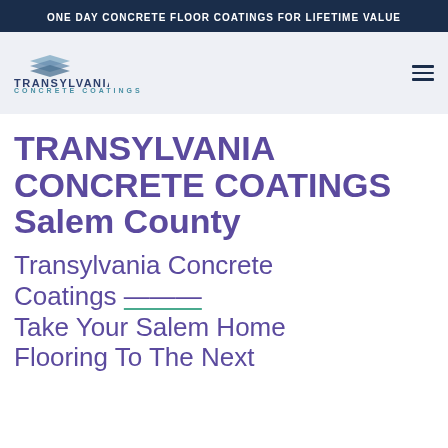ONE DAY CONCRETE FLOOR COATINGS FOR LIFETIME VALUE
[Figure (logo): Transylvania Concrete Coatings logo with stacked layers icon, company name in dark blue and teal subtitle]
TRANSYLVANIA CONCRETE COATINGS Salem County
Transylvania Concrete Coatings — Take Your Salem Home Flooring To The Next